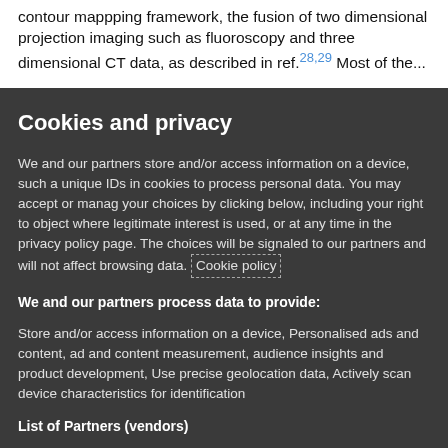contour mappping framework, the fusion of two dimensional projection imaging such as fluoroscopy and three dimensional CT data, as described in ref.28,29 Most of the...
Cookies and privacy
We and our partners store and/or access information on a device, such as unique IDs in cookies to process personal data. You may accept or manage your choices by clicking below, including your right to object where legitimate interest is used, or at any time in the privacy policy page. These choices will be signaled to our partners and will not affect browsing data. Cookie policy
We and our partners process data to provide:
Store and/or access information on a device, Personalised ads and content, ad and content measurement, audience insights and product development, Use precise geolocation data, Actively scan device characteristics for identification
List of Partners (vendors)
I Accept